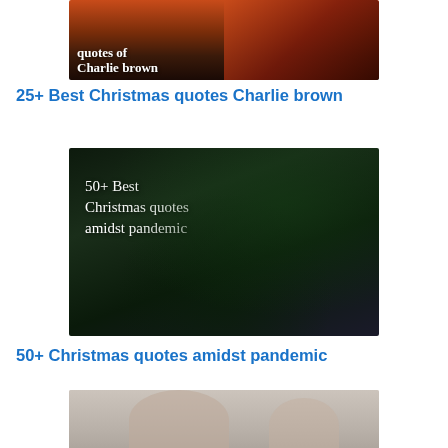[Figure (photo): Partial image of Christmas quotes Charlie brown book cover with citrus fruits background, warm red/orange tones]
25+ Best Christmas quotes Charlie brown
[Figure (photo): Dark Christmas tree with decorations and text overlay: 50+ Best Christmas quotes amidst pandemic]
50+ Christmas quotes amidst pandemic
[Figure (photo): Photo of mother and child, partially visible, with text beginning '50+ Christmas' at bottom]